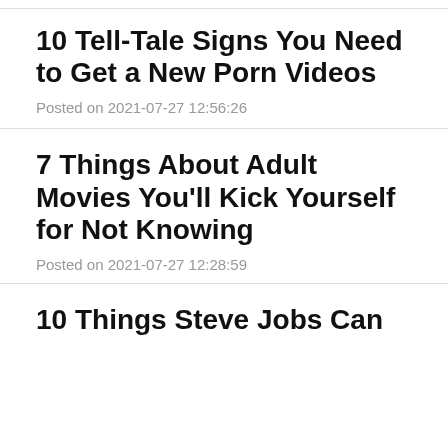10 Tell-Tale Signs You Need to Get a New Porn Videos
Posted on 2021-07-27 12:56:26
7 Things About Adult Movies You'll Kick Yourself for Not Knowing
Posted on 2021-07-27 12:28:59
10 Things Steve Jobs Can